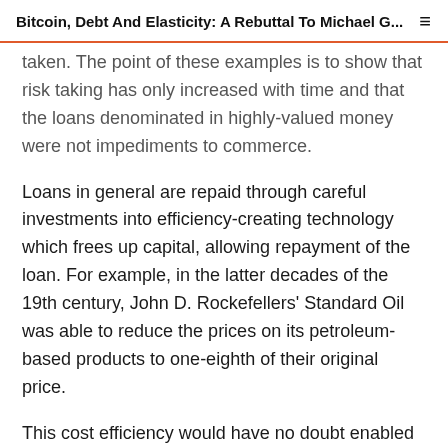Bitcoin, Debt And Elasticity: A Rebuttal To Michael G...
taken. The point of these examples is to show that risk taking has only increased with time and that the loans denominated in highly-valued money were not impediments to commerce.
Loans in general are repaid through careful investments into efficiency-creating technology which frees up capital, allowing repayment of the loan. For example, in the latter decades of the 19th century, John D. Rockefellers' Standard Oil was able to reduce the prices on its petroleum-based products to one-eighth of their original price.
This cost efficiency would have no doubt enabled